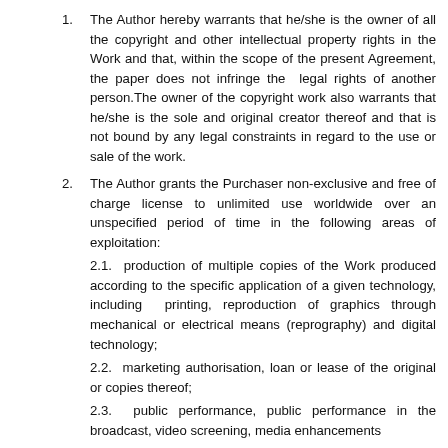The Author hereby warrants that he/she is the owner of all the copyright and other intellectual property rights in the Work and that, within the scope of the present Agreement, the paper does not infringe the legal rights of another person.The owner of the copyright work also warrants that he/she is the sole and original creator thereof and that is not bound by any legal constraints in regard to the use or sale of the work.
The Author grants the Purchaser non-exclusive and free of charge license to unlimited use worldwide over an unspecified period of time in the following areas of exploitation: 2.1. production of multiple copies of the Work produced according to the specific application of a given technology, including printing, reproduction of graphics through mechanical or electrical means (reprography) and digital technology; 2.2. marketing authorisation, loan or lease of the original or copies thereof; 2.3. public performance, public performance in the broadcast, video screening, media enhancements